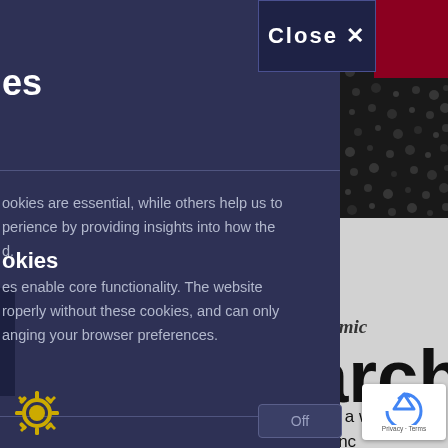[Figure (screenshot): Cookie consent modal overlay on top of an academic/research website. The modal has a dark navy background with a Close X button at top, cookie policy text, necessary cookies section with an Off toggle. Behind the modal on the right side is the website with a dark dotted image, red block, gray background, bold text reading 'earch', italic text 'n academic', and body text about work in a wide range of activities, science, it is usually. A reCAPTCHA badge appears bottom right.]
es
Close X
ookies are essential, while others help us to perience by providing insights into how the d.
okies
es enable core functionality. The website roperly without these cookies, and can only anging your browser preferences.
Off
n academic
earch
o work in a wide ties, scienc it is usually